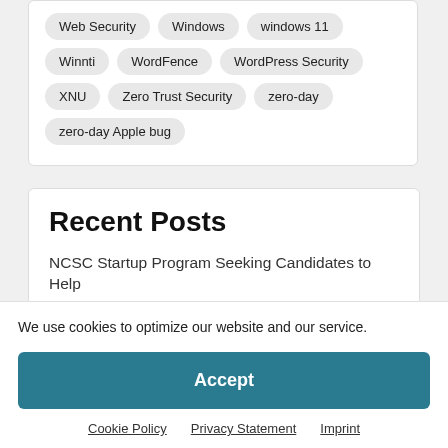Web Security
Windows
windows 11
Winnti
WordFence
WordPress Security
XNU
Zero Trust Security
zero-day
zero-day Apple bug
Recent Posts
NCSC Startup Program Seeking Candidates to Help
We use cookies to optimize our website and our service.
Accept
Cookie Policy   Privacy Statement   Imprint